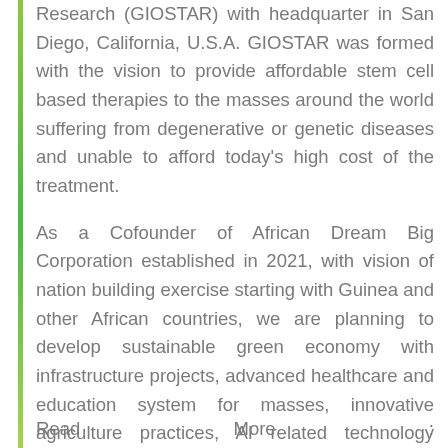Research (GIOSTAR) with headquarter in San Diego, California, U.S.A. GIOSTAR was formed with the vision to provide affordable stem cell based therapies to the masses around the world suffering from degenerative or genetic diseases and unable to afford today's high cost of the treatment.
As a Cofounder of African Dream Big Corporation established in 2021, with vision of nation building exercise starting with Guinea and other African countries, we are planning to develop sustainable green economy with infrastructure projects, advanced healthcare and education system for masses, innovative agriculture practices, AI related technology implementation, and import quality green manufacturing sector.
Read More :